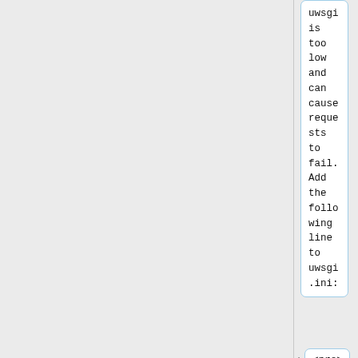uwsgi is too low and can cause requests to fail. Add the following line to uwsgi.ini:
<pre>
buffer-size = 32768
</pre>
====
Patching the source files
====